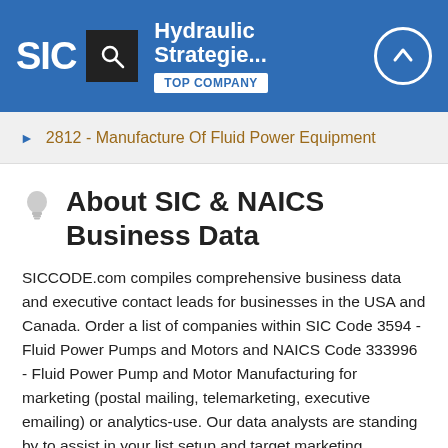SIC | Hydraulic Strategie... | TOP COMPANY
2812 - Manufacture Of Fluid Power Equipment
About SIC & NAICS Business Data
SICCODE.com compiles comprehensive business data and executive contact leads for businesses in the USA and Canada. Order a list of companies within SIC Code 3594 - Fluid Power Pumps and Motors and NAICS Code 333996 - Fluid Power Pump and Motor Manufacturing for marketing (postal mailing, telemarketing, executive emailing) or analytics-use. Our data analysts are standing by to assist in your list setup and target marketing.